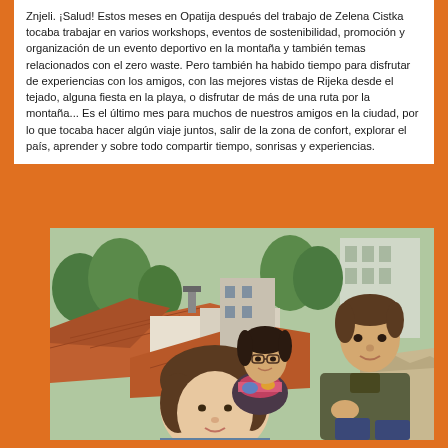Znjeli. ¡Salud! Estos meses en Opatija después del trabajo de Zelena Cistka tocaba trabajar en varios workshops, eventos de sostenibilidad, promoción y organización de un evento deportivo en la montaña y también temas relacionados con el zero waste. Pero también ha habido tiempo para disfrutar de experiencias con los amigos, con las mejores vistas de Rijeka desde el tejado, alguna fiesta en la playa, o disfrutar de más de una ruta por la montaña... Es el último mes para muchos de nuestros amigos en la ciudad, por lo que tocaba hacer algún viaje juntos, salir de la zona de confort, explorar el país, aprender y sobre todo compartir tiempo, sonrisas y experiencias.
[Figure (photo): Three young people sitting on a rooftop with terracotta tile rooftops and city buildings visible in the background. A woman in the foreground takes a selfie, another woman with glasses and a colorful scarf sits behind, and a young man in an olive jacket sits to the right.]